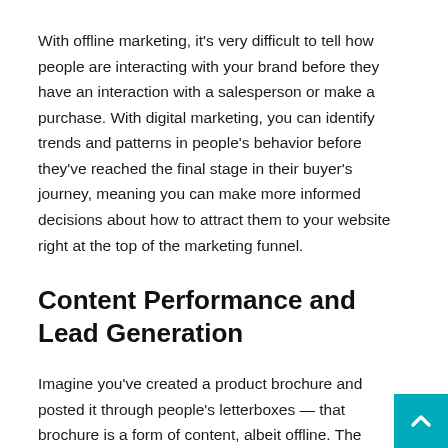With offline marketing, it's very difficult to tell how people are interacting with your brand before they have an interaction with a salesperson or make a purchase. With digital marketing, you can identify trends and patterns in people's behavior before they've reached the final stage in their buyer's journey, meaning you can make more informed decisions about how to attract them to your website right at the top of the marketing funnel.
Content Performance and Lead Generation
Imagine you've created a product brochure and posted it through people's letterboxes — that brochure is a form of content, albeit offline. The problem is that you have no idea how many people opened your brochure or how many peo